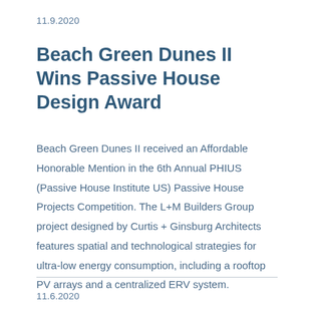11.9.2020
Beach Green Dunes II Wins Passive House Design Award
Beach Green Dunes II received an Affordable Honorable Mention in the 6th Annual PHIUS (Passive House Institute US) Passive House Projects Competition. The L+M Builders Group project designed by Curtis + Ginsburg Architects features spatial and technological strategies for ultra-low energy consumption, including a rooftop PV arrays and a centralized ERV system.
11.6.2020